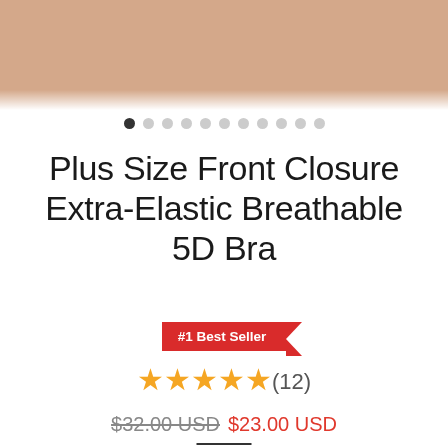[Figure (photo): Product photo of a person wearing a bra, cropped to show torso area with skin-tone background]
Plus Size Front Closure Extra-Elastic Breathable 5D Bra
#1 Best Seller
★★★★★(12)
$32.00 USD $23.00 USD